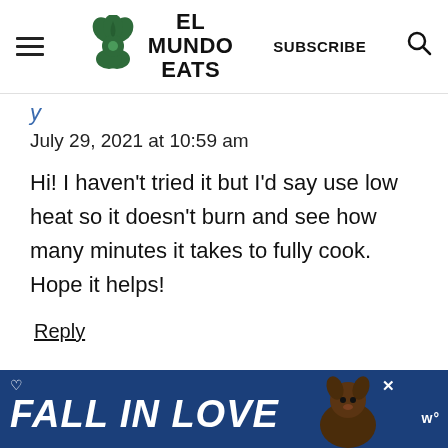El Mundo Eats — SUBSCRIBE
July 29, 2021 at 10:59 am
Hi! I haven't tried it but I'd say use low heat so it doesn't burn and see how many minutes it takes to fully cook. Hope it helps!
Reply
[Figure (screenshot): Advertisement banner reading FALL IN LOVE with a dog image]